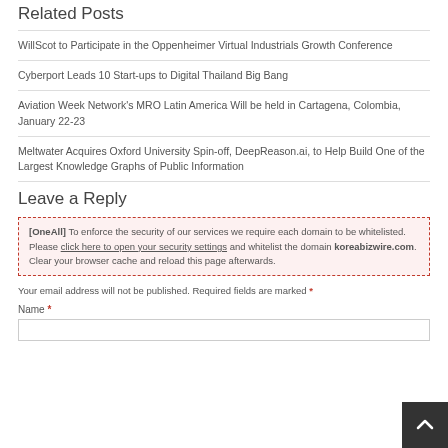Related Posts
WillScot to Participate in the Oppenheimer Virtual Industrials Growth Conference
Cyberport Leads 10 Start-ups to Digital Thailand Big Bang
Aviation Week Network's MRO Latin America Will be held in Cartagena, Colombia, January 22-23
Meltwater Acquires Oxford University Spin-off, DeepReason.ai, to Help Build One of the Largest Knowledge Graphs of Public Information
Leave a Reply
[OneAll] To enforce the security of our services we require each domain to be whitelisted. Please click here to open your security settings and whitelist the domain koreabizwire.com. Clear your browser cache and reload this page afterwards.
Your email address will not be published. Required fields are marked *
Name *